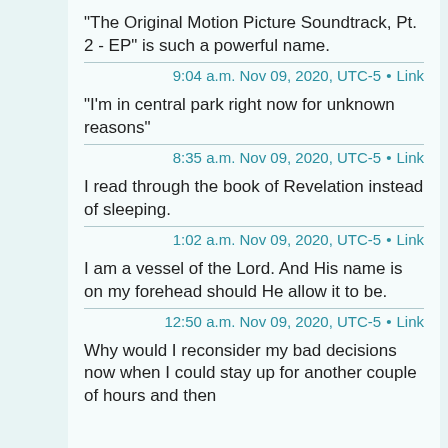"The Original Motion Picture Soundtrack, Pt. 2 - EP" is such a powerful name.
9:04 a.m. Nov 09, 2020, UTC-5 • Link
"I'm in central park right now for unknown reasons"
8:35 a.m. Nov 09, 2020, UTC-5 • Link
I read through the book of Revelation instead of sleeping.
1:02 a.m. Nov 09, 2020, UTC-5 • Link
I am a vessel of the Lord. And His name is on my forehead should He allow it to be.
12:50 a.m. Nov 09, 2020, UTC-5 • Link
Why would I reconsider my bad decisions now when I could stay up for another couple of hours and then